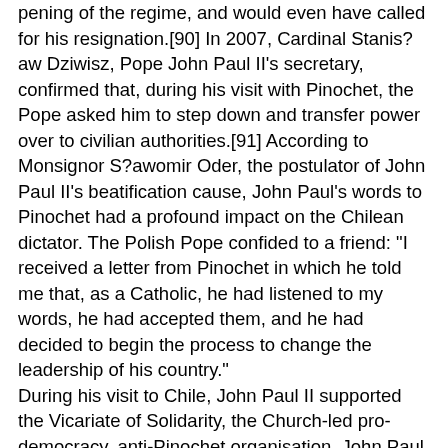pening of the regime, and would even have called for his resignation.[90] In 2007, Cardinal Stanis?aw Dziwisz, Pope John Paul II's secretary, confirmed that, during his visit with Pinochet, the Pope asked him to step down and transfer power over to civilian authorities.[91] According to Monsignor S?awomir Oder, the postulator of John Paul II's beatification cause, John Paul's words to Pinochet had a profound impact on the Chilean dictator. The Polish Pope confided to a friend: "I received a letter from Pinochet in which he told me that, as a Catholic, he had listened to my words, he had accepted them, and he had decided to begin the process to change the leadership of his country."
During his visit to Chile, John Paul II supported the Vicariate of Solidarity, the Church-led pro-democracy, anti-Pinochet organisation. John Paul II visited the Vicariate of Solidarity's offices, spoke with its workers, and "called upon them to continue their work, emphasizing that the Gospel consistently urges respect for human rights." While in Chile, Pope John Paul II made gestures of public support of Chile's anti-Pinochet democratic opposition. For instance, he hugged and kissed Carmen Gloria Quintana, a young student burned alive by Chilean police and told her that "We must pray for peace and justice in Chile.] Later, he met with several opposition groups, including those that had been declared illegal by Pinochet's government. The opposition praised John Paul II for d